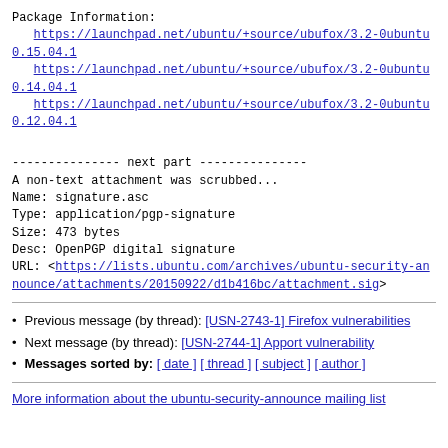Package Information:
   https://launchpad.net/ubuntu/+source/ubufox/3.2-0ubuntu0.15.04.1
   https://launchpad.net/ubuntu/+source/ubufox/3.2-0ubuntu0.14.04.1
   https://launchpad.net/ubuntu/+source/ubufox/3.2-0ubuntu0.12.04.1
--------------- next part ---------------
A non-text attachment was scrubbed...
Name: signature.asc
Type: application/pgp-signature
Size: 473 bytes
Desc: OpenPGP digital signature
URL: <https://lists.ubuntu.com/archives/ubuntu-security-announce/attachments/20150922/d1b416bc/attachment.sig>
Previous message (by thread): [USN-2743-1] Firefox vulnerabilities
Next message (by thread): [USN-2744-1] Apport vulnerability
Messages sorted by: [ date ] [ thread ] [ subject ] [ author ]
More information about the ubuntu-security-announce mailing list